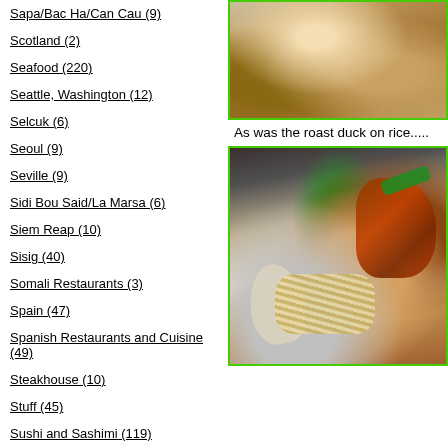Sapa/Bac Ha/Can Cau (9)
Scotland (2)
Seafood (220)
Seattle, Washington (12)
Selcuk (6)
Seoul (9)
Seville (9)
Sidi Bou Said/La Marsa (6)
Siem Reap (10)
Sisig (40)
Somali Restaurants (3)
Spain (47)
Spanish Restaurants and Cuisine (49)
Steakhouse (10)
Stuff (45)
Sushi and Sashimi (119)
Suzhou (6)
Symi (4)
[Figure (photo): Close-up photo of a bowl or ceramic dish, warm brown tones]
As was the roast duck on rice.....
[Figure (photo): Photo of roast duck on rice in a takeaway container with noodles, meat, and green garnish]